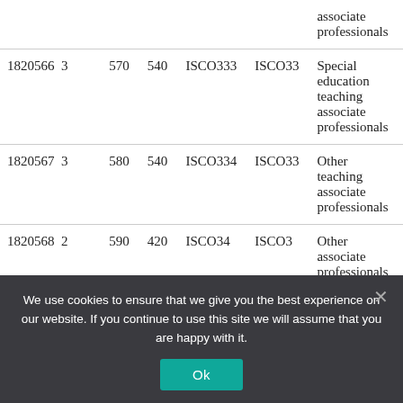| ID |  |  |  | ISCO4 | ISCO3-4 | Description |
| --- | --- | --- | --- | --- | --- | --- |
|  |  |  |  |  |  | associate professionals |
| 1820566 | 3 | 570 | 540 | ISCO333 | ISCO33 | Special education teaching associate professionals |
| 1820567 | 3 | 580 | 540 | ISCO334 | ISCO33 | Other teaching associate professionals |
| 1820568 | 2 | 590 | 420 | ISCO34 | ISCO3 | Other associate professionals |
We use cookies to ensure that we give you the best experience on our website. If you continue to use this site we will assume that you are happy with it.